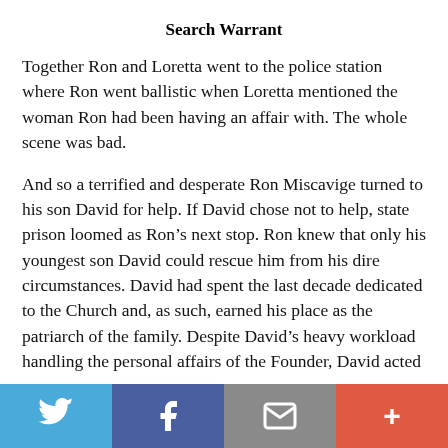Search Warrant
Together Ron and Loretta went to the police station where Ron went ballistic when Loretta mentioned the woman Ron had been having an affair with. The whole scene was bad.
And so a terrified and desperate Ron Miscavige turned to his son David for help. If David chose not to help, state prison loomed as Ron’s next stop. Ron knew that only his youngest son David could rescue him from his dire circumstances. David had spent the last decade dedicated to the Church and, as such, earned his place as the patriarch of the family. Despite David’s heavy workload handling the personal affairs of the Founder, David acted as a
[Figure (infographic): Social sharing bar with four buttons: Twitter (blue), Facebook (dark blue), Email (gray), and More/Plus (red-orange)]